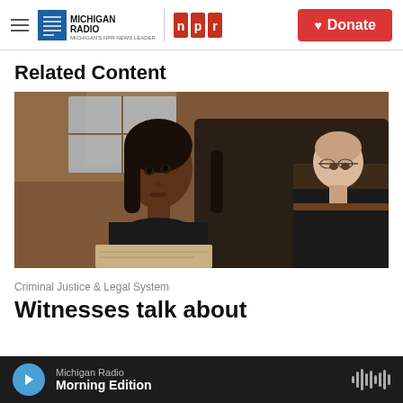Michigan Radio | NPR | Donate
Related Content
[Figure (photo): A Black woman in a black sleeveless top sitting in a courtroom looking upward, with a judge in black robes visible in the background at a wooden bench.]
Criminal Justice & Legal System
Witnesses talk about
Michigan Radio | Morning Edition